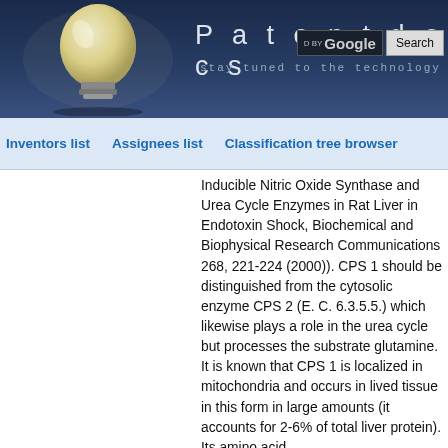Patentdocs — stay tuned to the technology
Inventors list   Assignees list   Classification tree browser
Inducible Nitric Oxide Synthase and Urea Cycle Enzymes in Rat Liver in Endotoxin Shock, Biochemical and Biophysical Research Communications 268, 221-224 (2000)). CPS 1 should be distinguished from the cytosolic enzyme CPS 2 (E. C. 6.3.5.5.) which likewise plays a role in the urea cycle but processes the substrate glutamine. It is known that CPS 1 is localized in mitochondria and occurs in lived tissue in this form in large amounts (it accounts for 2-6% of total liver protein). Its amino acid